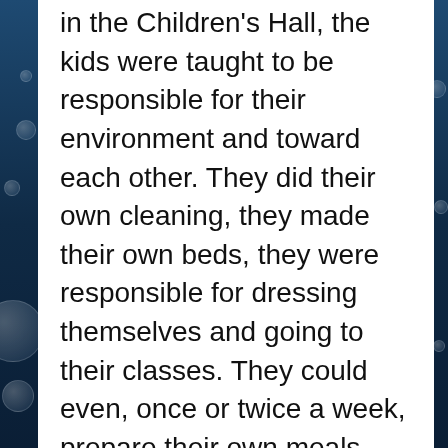in the Children's Hall, the kids were taught to be responsible for their environment and toward each other. They did their own cleaning, they made their own beds, they were responsible for dressing themselves and going to their classes. They could even, once or twice a week, prepare their own meals. They could call adults for help at any point and the help would be given easily and cheerfully, but the Children's Hall was supposed to be like their own little enclave that taught them to value the home and to value community with each other, to take care of their own space and